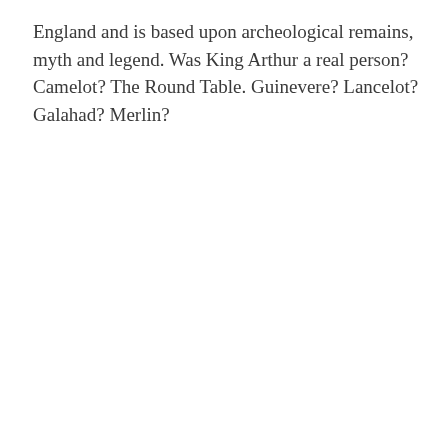England and is based upon archeological remains, myth and legend. Was King Arthur a real person? Camelot? The Round Table. Guinevere? Lancelot? Galahad? Merlin?